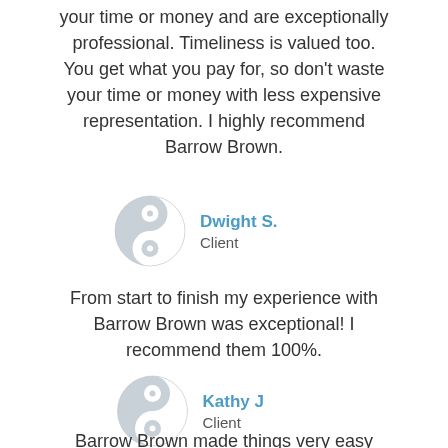your time or money and are exceptionally professional. Timeliness is valued too. You get what you pay for, so don't waste your time or money with less expensive representation. I highly recommend Barrow Brown.
[Figure (logo): Yin-yang style logo in light grey for Dwight S.]
Dwight S.
Client
From start to finish my experience with Barrow Brown was exceptional! I recommend them 100%.
[Figure (logo): Yin-yang style logo in light grey for Kathy J]
Kathy J
Client
Barrow Brown made things very easy during this